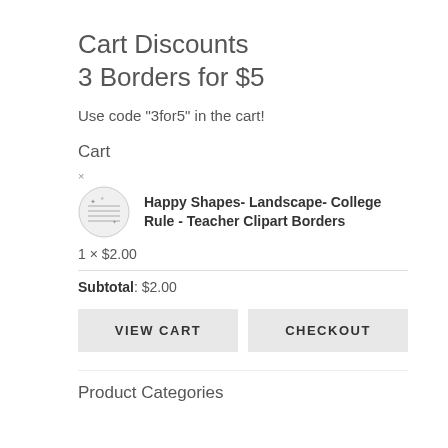Cart Discounts
3 Borders for $5
Use code "3for5" in the cart!
Cart
×
[Figure (illustration): Small circular clipart image showing lined paper with happy shapes / stars decoration]
Happy Shapes- Landscape- College Rule - Teacher Clipart Borders
1 × $2.00
Subtotal: $2.00
VIEW CART
CHECKOUT
Product Categories